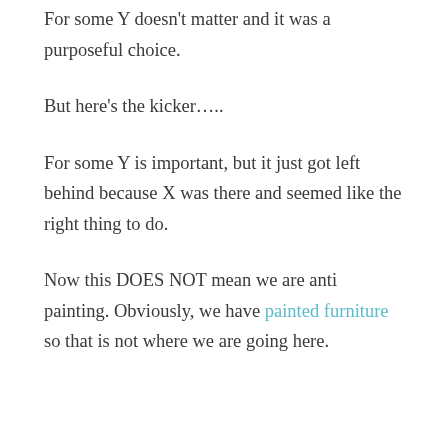For some Y doesn't matter and it was a purposeful choice.
But here's the kicker…..
For some Y is important, but it just got left behind because X was there and seemed like the right thing to do.
Now this DOES NOT mean we are anti painting. Obviously, we have painted furniture so that is not where we are going here.